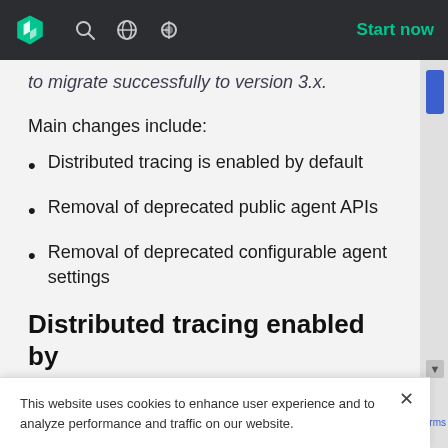Start now
to migrate successfully to version 3.x.
Main changes include:
Distributed tracing is enabled by default
Removal of deprecated public agent APIs
Removal of deprecated configurable agent settings
Distributed tracing enabled by default
This website uses cookies to enhance user experience and to analyze performance and traffic on our website.